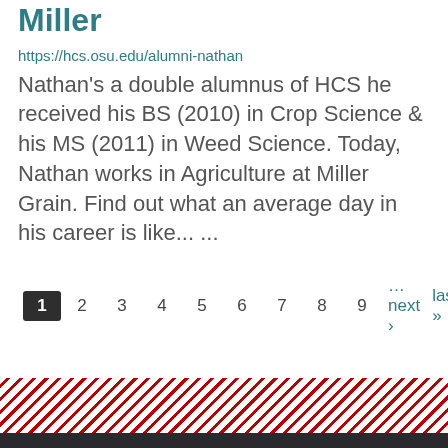Miller
https://hcs.osu.edu/alumni-nathan
Nathan's a double alumnus of HCS he received his BS (2010) in Crop Science & his MS (2011) in Weed Science. Today, Nathan works in Agriculture at Miller Grain. Find out what an average day in his career is like... ...
Pagination: 1 2 3 4 5 6 7 8 9 …next › last »